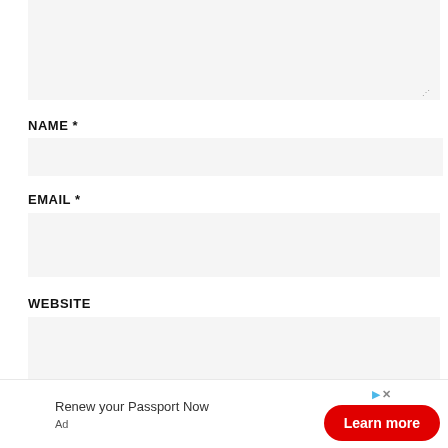[Figure (screenshot): Textarea input box with light gray background, resize handle at bottom right]
NAME *
[Figure (screenshot): Name text input field with light gray background]
EMAIL *
[Figure (screenshot): Email text input field with light gray background]
WEBSITE
[Figure (screenshot): Website text input field with light gray background]
[Figure (screenshot): Advertisement banner: 'Renew your Passport Now' with red Learn more button, Ad label]